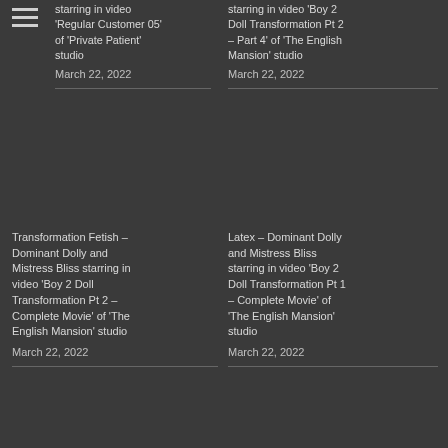starring in video 'Regular Customer 05' of 'Private Patient' studio
March 22, 2022
starring in video 'Boy 2 Doll Transformation Pt 2 – Part 4' of 'The English Mansion' studio
March 22, 2022
[Figure (photo): Dark placeholder image left column]
[Figure (photo): Dark placeholder image right column]
Transformation Fetish – Dominant Dolly and Mistress Bliss starring in video 'Boy 2 Doll Transformation Pt 2 – Complete Movie' of 'The English Mansion' studio
March 22, 2022
Latex – Dominant Dolly and Mistress Bliss starring in video 'Boy 2 Doll Transformation Pt 1 – Complete Movie' of 'The English Mansion' studio
March 22, 2022